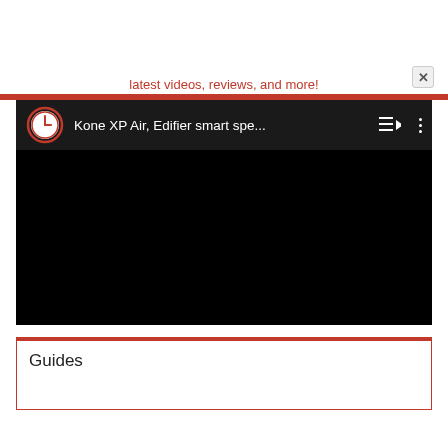latest videos, reviews, and more!
[Figure (screenshot): YouTube-style video player showing a dark header bar with a clock/history icon, video title 'Kone XP Air, Edifier smart spe...' with playlist and more-options icons, and a black video content area below.]
Guides